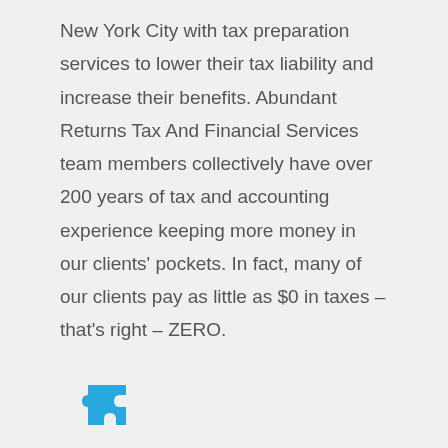New York City with tax preparation services to lower their tax liability and increase their benefits. Abundant Returns Tax And Financial Services team members collectively have over 200 years of tax and accounting experience keeping more money in our clients' pockets. In fact, many of our clients pay as little as $0 in taxes – that's right – ZERO.
[Figure (illustration): Blue puzzle piece icon]
LET US DEAL WITH THE TAX OFFICE
Our expert team of tax professionals is prepared